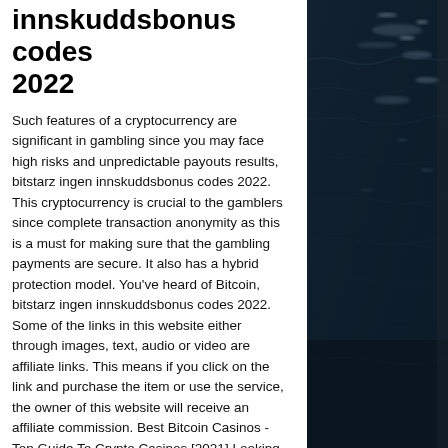innskuddsbonus codes 2022
Such features of a cryptocurrency are significant in gambling since you may face high risks and unpredictable payouts results, bitstarz ingen innskuddsbonus codes 2022. This cryptocurrency is crucial to the gamblers since complete transaction anonymity as this is a must for making sure that the gambling payments are secure. It also has a hybrid protection model. You've heard of Bitcoin, bitstarz ingen innskuddsbonus codes 2022. Some of the links in this website either through images, text, audio or video are affiliate links. This means if you click on the link and purchase the item or use the service, the owner of this website will receive an affiliate commission. Best Bitcoin Casinos - Top Guide To Crypto Casinos [2021] Looking for the best Bitcoin casinos, bitstarz
[Figure (photo): Dark ocean water with light reflections on waves, taken from above at an angle, showing a coastal or open sea scene with dark blue-black water and highlights.]